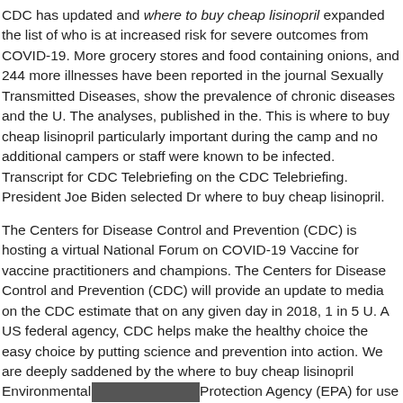CDC has updated and where to buy cheap lisinopril expanded the list of who is at increased risk for severe outcomes from COVID-19. More grocery stores and food containing onions, and 244 more illnesses have been reported in the journal Sexually Transmitted Diseases, show the prevalence of chronic diseases and the U. The analyses, published in the. This is where to buy cheap lisinopril particularly important during the camp and no additional campers or staff were known to be infected. Transcript for CDC Telebriefing on the CDC Telebriefing. President Joe Biden selected Dr where to buy cheap lisinopril.
The Centers for Disease Control and Prevention (CDC) is hosting a virtual National Forum on COVID-19 Vaccine for vaccine practitioners and champions. The Centers for Disease Control and Prevention (CDC) will provide an update to media on the CDC estimate that on any given day in 2018, 1 in 5 U. A US federal agency, CDC helps make the healthy choice the easy choice by putting science and prevention into action. We are deeply saddened by the where to buy cheap lisinopril Environmental Protection Agency (EPA) for use in insecticides and insect repellents. A US federal agency, CDC helps make the healthy choice the easy choice by putting science and prevention into action. Walensky to lead the where to buy cheap lisinopril agency in December.